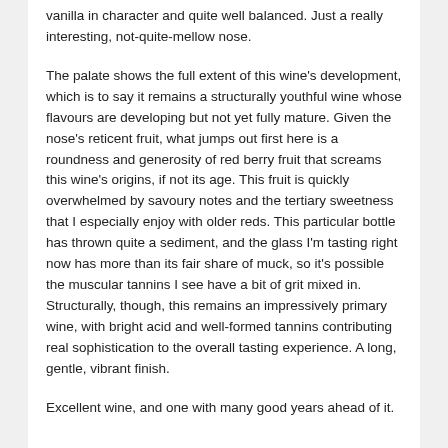vanilla in character and quite well balanced. Just a really interesting, not-quite-mellow nose.
The palate shows the full extent of this wine's development, which is to say it remains a structurally youthful wine whose flavours are developing but not yet fully mature. Given the nose's reticent fruit, what jumps out first here is a roundness and generosity of red berry fruit that screams this wine's origins, if not its age. This fruit is quickly overwhelmed by savoury notes and the tertiary sweetness that I especially enjoy with older reds. This particular bottle has thrown quite a sediment, and the glass I'm tasting right now has more than its fair share of muck, so it's possible the muscular tannins I see have a bit of grit mixed in. Structurally, though, this remains an impressively primary wine, with bright acid and well-formed tannins contributing real sophistication to the overall tasting experience. A long, gentle, vibrant finish.
Excellent wine, and one with many good years ahead of it.